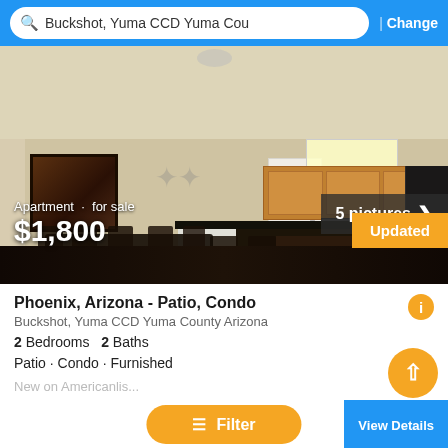Buckshot, Yuma CCD Yuma Cou | Change
[Figure (photo): Interior photo of apartment/condo showing dining area with dark wood table and chairs, open kitchen with wooden cabinets and dark countertop bar with barstools, white walls, dark hardwood floor. Overlay text: 5 pictures. Property badge: Apartment · for sale $1,800. Updated badge bottom right.]
Phoenix, Arizona - Patio, Condo
Buckshot, Yuma CCD Yuma County Arizona
2 Bedrooms  2 Baths
Patio · Condo · Furnished
New on Americanlis...